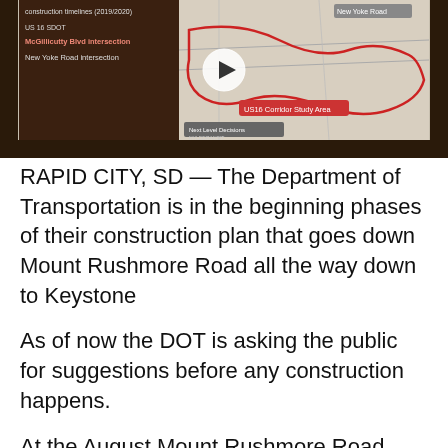[Figure (screenshot): A video thumbnail showing a projected map presentation slide about construction timelines (2019/2020), US 16 SDOT, McGillicutty Blvd intersection, New York Road intersection, with a play button overlay and US16 Corridor Study Area labeled on a map.]
RAPID CITY, SD — The Department of Transportation is in the beginning phases of their construction plan that goes down Mount Rushmore Road all the way down to Keystone
As of now the DOT is asking the public for suggestions before any construction happens.
At the August Mount Rushmore Road Society meeting, the DOT gave a presentation detailing the future of the road.